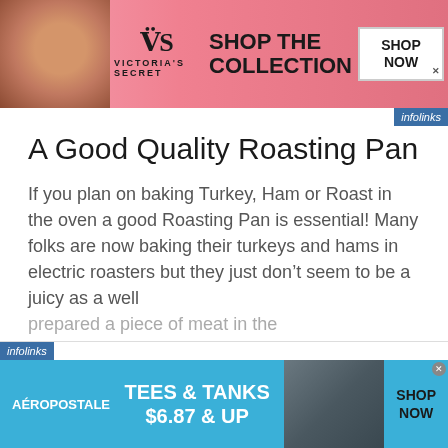[Figure (screenshot): Victoria's Secret advertisement banner with pink background, model photo on left, VS logo and 'SHOP THE COLLECTION' text, and 'SHOP NOW' button on right]
infolinks
A Good Quality Roasting Pan
If you plan on baking Turkey, Ham or Roast in the oven a good Roasting Pan is essential! Many folks are now baking their turkeys and hams in electric roasters but they just don't seem to be a juicy as a well prepared a piece of meat in the
[Figure (screenshot): Aeropostale advertisement banner with blue background showing 'TEES & TANKS $6.87 & UP' text, apparel image, and SHOP NOW button]
infolinks